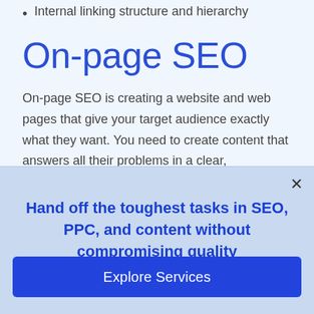Internal linking structure and hierarchy
On-page SEO
On-page SEO is creating a website and web pages that give your target audience exactly what they want. You need to create content that answers all their problems in a clear, informative...
Hand off the toughest tasks in SEO, PPC, and content without compromising quality
Explore Services